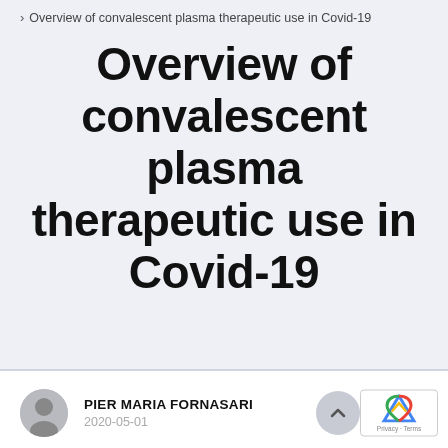> Overview of convalescent plasma therapeutic use in Covid-19
Overview of convalescent plasma therapeutic use in Covid-19
PIER MARIA FORNASARI
2020-05-01